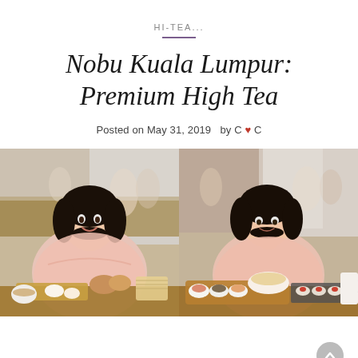HI-TEA...
Nobu Kuala Lumpur: Premium High Tea
Posted on May 31, 2019   by C ♥ C
[Figure (photo): Two side-by-side photos of a woman in a pink off-shoulder blouse sitting at a restaurant table with high tea spread including pastries, small cups, and Japanese-style dishes at Nobu Kuala Lumpur.]